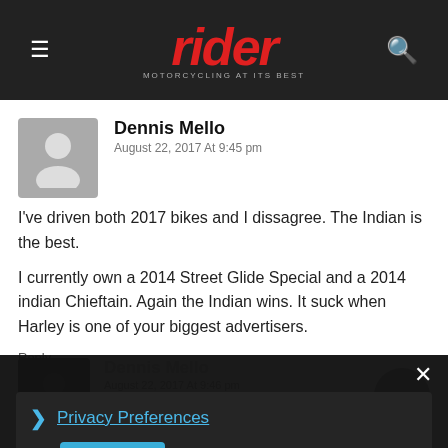rider — MOTORCYCLING AT ITS BEST
Dennis Mello
August 22, 2017 At 9:45 pm
I've driven both 2017 bikes and I dissagree. The Indian is the best.

I currently own a 2014 Street Glide Special and a 2014 indian Chieftain. Again the Indian wins. It suck when Harley is one of your biggest advertisers.
Reply
Dennis Mello
August 22, 2017 At 9:46 pm
I've driven both 2017 bikes and I dissagree. Indian is the best.
Privacy Preferences
I Agree